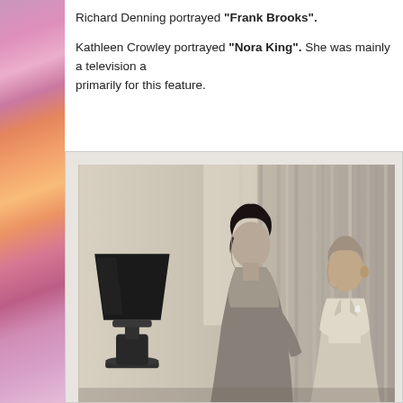Richard Denning portrayed "Frank Brooks".
Kathleen Crowley portrayed "Nora King". She was mainly a television a... primarily for this feature.
[Figure (photo): Black and white still photograph showing a woman and a man in a mid-century interior setting. The woman stands facing left in profile, wearing a fitted top, with dark curled hair. The man stands to her right facing her, wearing a light suit jacket. A black table lamp on a decorative base is visible on the left, with venetian blinds/curtains in the background.]